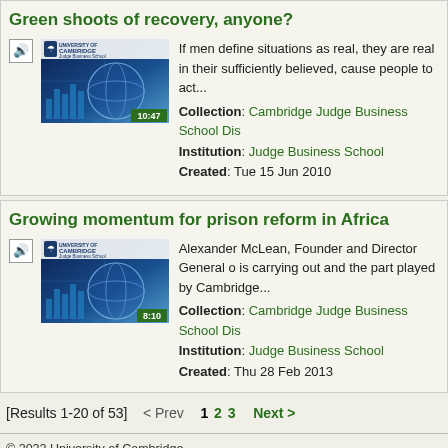Green shoots of recovery, anyone?
[Figure (screenshot): Video thumbnail with University of Cambridge Judge Business School logo, duration badge 10:47]
If men define situations as real, they are real in their sufficiently believed, cause people to act...
Collection: Cambridge Judge Business School Dis
Institution: Judge Business School
Created: Tue 15 Jun 2010
Growing momentum for prison reform in Africa
[Figure (screenshot): Video thumbnail with University of Cambridge Judge Business School logo, duration badge 8:10]
Alexander McLean, Founder and Director General o is carrying out and the part played by Cambridge...
Collection: Cambridge Judge Business School Dis
Institution: Judge Business School
Created: Thu 28 Feb 2013
[Results 1-20 of 53]   < Prev   1 2 3   Next >
© 2022 University of Cambridge
Service provided by sms-support@uis.cam.ac.uk